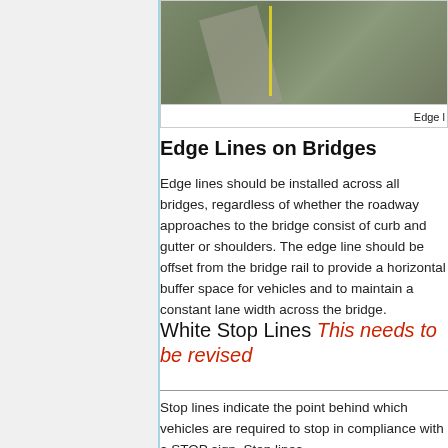[Figure (photo): Aerial photograph of a bridge or road section showing edge lines, with a yellow line visible]
Edge l
Edge Lines on Bridges
Edge lines should be installed across all bridges, regardless of whether the roadway approaches to the bridge consist of curb and gutter or shoulders. The edge line should be offset from the bridge rail to provide a horizontal buffer space for vehicles and to maintain a constant lane width across the bridge.
White Stop Lines This needs to be revised
Stop lines indicate the point behind which vehicles are required to stop in compliance with a STOP sign. Stop lines